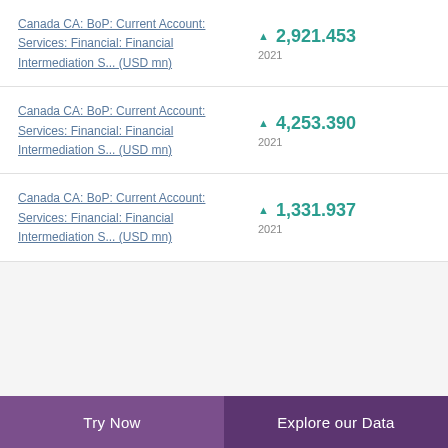Canada CA: BoP: Current Account: Services: Financial: Financial Intermediation S... (USD mn) | ▲ 2,921.453 | 2021
Canada CA: BoP: Current Account: Services: Financial: Financial Intermediation S... (USD mn) | ▲ 4,253.390 | 2021
Canada CA: BoP: Current Account: Services: Financial: Financial Intermediation S... (USD mn) | ▲ 1,331.937 | 2021
Try Now | Explore our Data